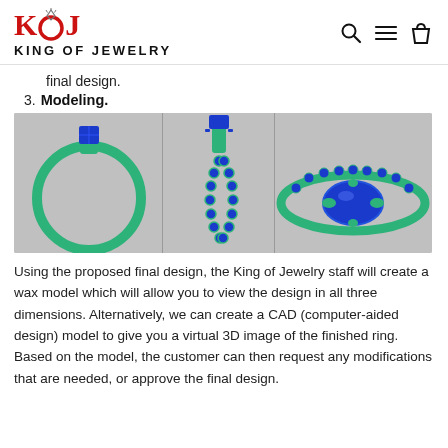KING OF JEWELRY
final design.
3. Modeling.
[Figure (photo): Three-view CAD rendering of a ring in green and blue: left view shows full ring, center shows the shank/band detail, right shows top-down view of the setting with blue gemstone.]
Using the proposed final design, the King of Jewelry staff will create a wax model which will allow you to view the design in all three dimensions. Alternatively, we can create a CAD (computer-aided design) model to give you a virtual 3D image of the finished ring. Based on the model, the customer can then request any modifications that are needed, or approve the final design.